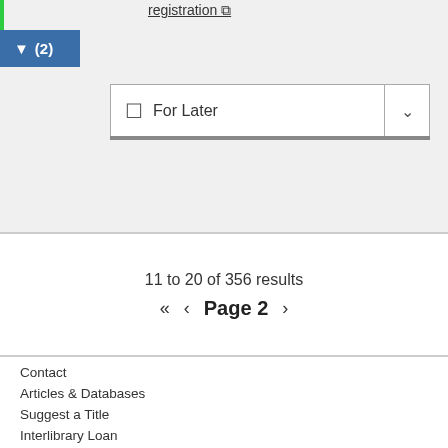registration
[Figure (screenshot): Filter button showing funnel icon with (2) count, blue background]
For Later
11 to 20 of 356 results
« < Page 2 >
Contact
Articles & Databases
Suggest a Title
Interlibrary Loan
Classic Catalog
FAQ
Privacy Statement